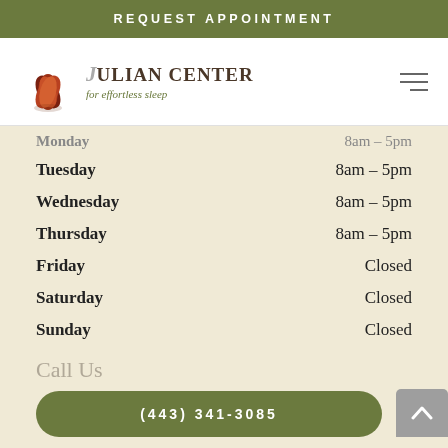REQUEST APPOINTMENT
[Figure (logo): Julian Center for effortless sleep logo with orange/red lotus leaf and italic J]
| Day | Hours |
| --- | --- |
| Monday | 8am – 5pm |
| Tuesday | 8am – 5pm |
| Wednesday | 8am – 5pm |
| Thursday | 8am – 5pm |
| Friday | Closed |
| Saturday | Closed |
| Sunday | Closed |
Call Us
(443) 341-3085